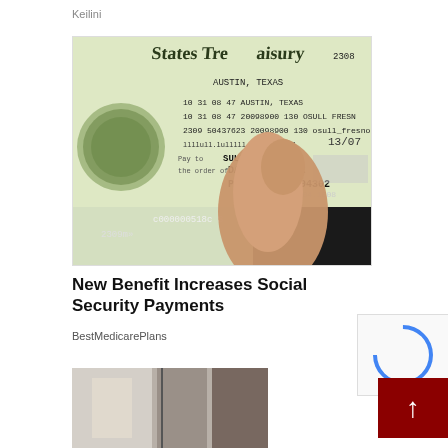Keilini
[Figure (photo): A hand holding a U.S. Treasury government check made out to DANI SULLI, PO BOX, PALO ALT CA 94302, showing partial routing and account numbers]
New Benefit Increases Social Security Payments
BestMedicarePlans
[Figure (photo): Partial view of a second article's thumbnail image showing an indoor scene]